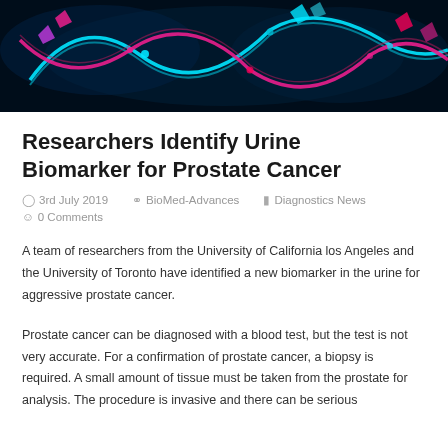[Figure (photo): Dark blue/black background scientific illustration showing DNA-like strands in magenta/pink and cyan/teal colors with molecular structures, representing biomarkers or genetic material.]
Researchers Identify Urine Biomarker for Prostate Cancer
3rd July 2019  BioMed-Advances  Diagnostics News  0 Comments
A team of researchers from the University of California los Angeles and the University of Toronto have identified a new biomarker in the urine for aggressive prostate cancer.
Prostate cancer can be diagnosed with a blood test, but the test is not very accurate. For a confirmation of prostate cancer, a biopsy is required. A small amount of tissue must be taken from the prostate for analysis. The procedure is invasive and there can be serious